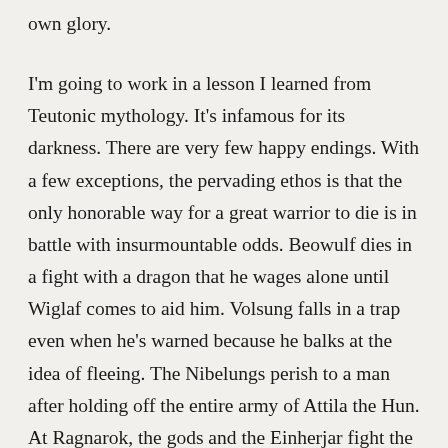own glory.
I'm going to work in a lesson I learned from Teutonic mythology. It's infamous for its darkness. There are very few happy endings. With a few exceptions, the pervading ethos is that the only honorable way for a great warrior to die is in battle with insurmountable odds. Beowulf dies in a fight with a dragon that he wages alone until Wiglaf comes to aid him. Volsung falls in a trap even when he's warned because he balks at the idea of fleeing. The Nibelungs perish to a man after holding off the entire army of Attila the Hun. At Ragnarok, the gods and the Einherjar fight the giants to the death until